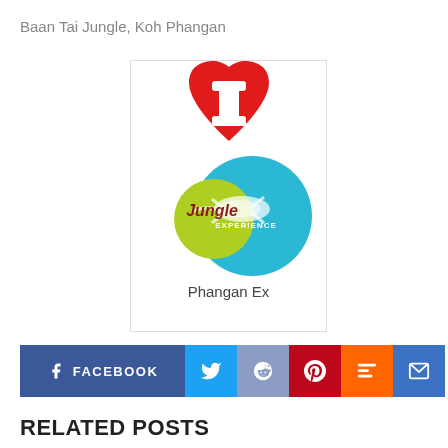Baan Tai Jungle, Koh Phangan
[Figure (logo): Phangan Jungle Experience logo: red heart with letter I above, overlapping teal circle with yellow-green circle and gecko/lizard illustration, text 'jungle EXPERIENCE']
Phangan Ex
FACEBOOK (social share bar with Facebook, Twitter, Reddit, Pinterest, Mix, Email buttons)
RELATED POSTS